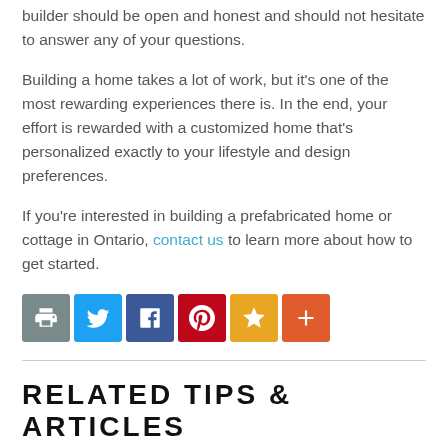builder should be open and honest and should not hesitate to answer any of your questions.
Building a home takes a lot of work, but it's one of the most rewarding experiences there is. In the end, your effort is rewarded with a customized home that's personalized exactly to your lifestyle and design preferences.
If you're interested in building a prefabricated home or cottage in Ontario, contact us to learn more about how to get started.
[Figure (infographic): Row of six social sharing icon buttons: print (grey), Twitter (blue), Facebook (dark blue), Pinterest (red), star/bookmark (gold/yellow), plus/more (orange-red)]
RELATED TIPS & ARTICLES